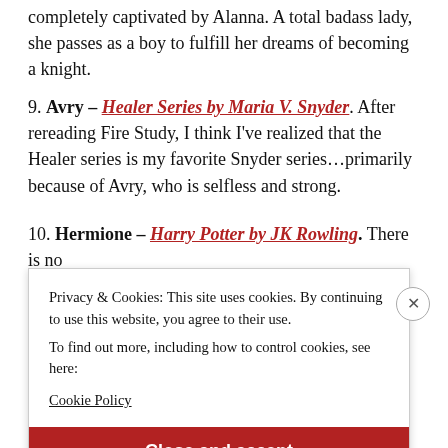completely captivated by Alanna. A total badass lady, she passes as a boy to fulfill her dreams of becoming a knight.
9. Avry – Healer Series by Maria V. Snyder. After rereading Fire Study, I think I've realized that the Healer series is my favorite Snyder series…primarily because of Avry, who is selfless and strong.
10. Hermione – Harry Potter by JK Rowling. There is no
Privacy & Cookies: This site uses cookies. By continuing to use this website, you agree to their use.
To find out more, including how to control cookies, see here:
Cookie Policy
Close and accept